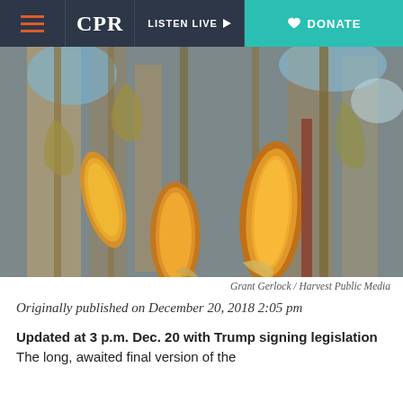CPR | LISTEN LIVE | DONATE
[Figure (photo): Close-up photograph of yellow corn ears on dried stalks in a field, with blue sky visible in background. Multiple corn ears visible with husks partially peeled back.]
Grant Gerlock / Harvest Public Media
Originally published on December 20, 2018 2:05 pm
Updated at 3 p.m. Dec. 20 with Trump signing legislation  The long, awaited final version of the